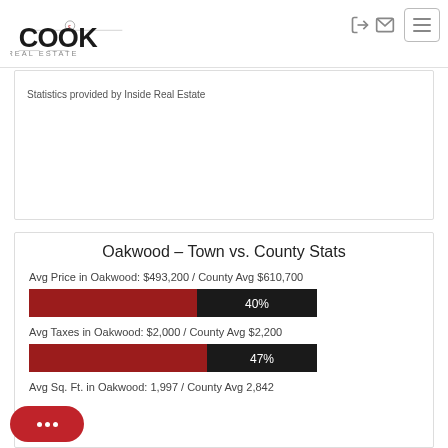Cook Real Estate
Statistics provided by Inside Real Estate
Oakwood - Town vs. County Stats
Avg Price in Oakwood: $493,200 / County Avg $610,700
[Figure (bar-chart): Avg Price comparison]
Avg Taxes in Oakwood: $2,000 / County Avg $2,200
[Figure (bar-chart): Avg Taxes comparison]
Avg Sq. Ft. in Oakwood: 1,997 / County Avg 2,842